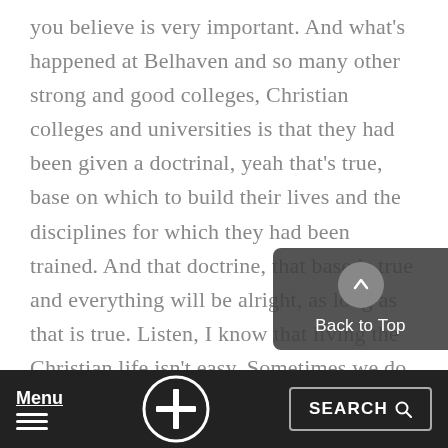you believe is very important. And what's happened at Belhaven and so many other strong and good colleges, Christian colleges and universities is that they had been given a doctrinal, yeah that's true, base on which to build their lives and the disciplines for which they had been trained. And that doctrine, that base is true and everything will be alright, as long as that is true. Listen, I know that living the Christian life isn't easy. Sometimes we do it well, and sometimes we don't. It's covered, by the sufficient blood and finished blood
[Figure (other): Back to Top button: dark rounded rectangle with an upward arrow icon and text 'Back to Top']
Menu  [cross icon]  SEARCH